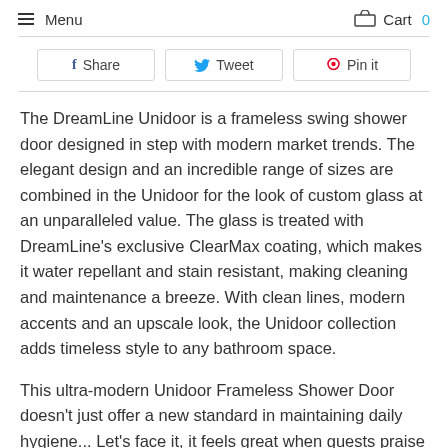Menu   Cart 0
[Figure (other): Social sharing buttons: Share (Facebook), Tweet (Twitter), Pin it (Pinterest)]
The DreamLine Unidoor is a frameless swing shower door designed in step with modern market trends. The elegant design and an incredible range of sizes are combined in the Unidoor for the look of custom glass at an unparalleled value. The glass is treated with DreamLine's exclusive ClearMax coating, which makes it water repellant and stain resistant, making cleaning and maintenance a breeze. With clean lines, modern accents and an upscale look, the Unidoor collection adds timeless style to any bathroom space.
This ultra-modern Unidoor Frameless Shower Door doesn't just offer a new standard in maintaining daily hygiene... Let's face it, it feels great when guests praise